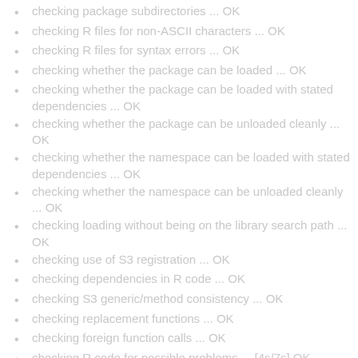checking package subdirectories ... OK
checking R files for non-ASCII characters ... OK
checking R files for syntax errors ... OK
checking whether the package can be loaded ... OK
checking whether the package can be loaded with stated dependencies ... OK
checking whether the package can be unloaded cleanly ... OK
checking whether the namespace can be loaded with stated dependencies ... OK
checking whether the namespace can be unloaded cleanly ... OK
checking loading without being on the library search path ... OK
checking use of S3 registration ... OK
checking dependencies in R code ... OK
checking S3 generic/method consistency ... OK
checking replacement functions ... OK
checking foreign function calls ... OK
checking R code for possible problems ... [4s/7s] OK
checking Rd files ... [0s/0s] OK
checking Rd metadata ... OK
checking Rd line widths ... OK
checking Rd cross-references ... OK
checking for missing documentation entries ... OK